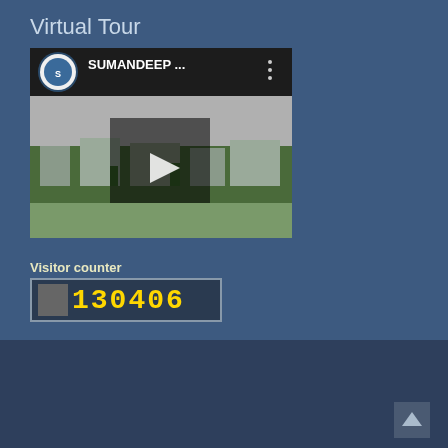Virtual Tour
[Figure (screenshot): YouTube video thumbnail showing Sumandeep Vidyapeeth campus aerial view with play button overlay. Header shows channel logo and title 'SUMANDEEP ...' with options menu icon.]
Visitor counter
[Figure (other): Digital visitor counter display showing number 130406 in yellow digits on dark background with a gray block on the left side, bordered by a light colored rectangle]
Created by Learning Resource Center
Proudly powered by WordPress | Education Hub by WEN Themes